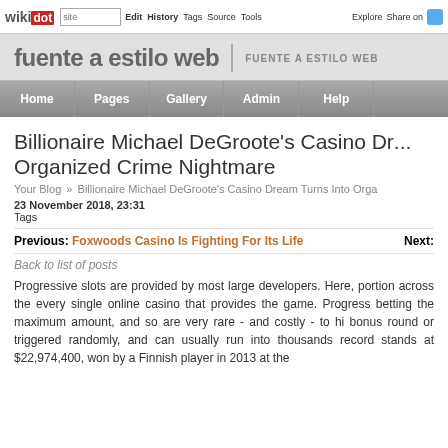wikidot | site | Edit | History | Tags | Source | Tools | Explore | Share on Twitter
fuente a estilo web | FUENTE A ESTILO WEB
Home | Pages | Gallery | Admin | Help
Billionaire Michael DeGroote's Casino Dream Turns Into Organized Crime Nightmare
Your Blog » Billionaire Michael DeGroote's Casino Dream Turns Into Orga
23 November 2018, 23:31
Tags
Previous: Foxwoods Casino Is Fighting For Its Life    Next:
Back to list of posts
Progressive slots are provided by most large developers. Here, portion across the every single online casino that provides the game. Progress betting the maximum amount, and so are very rare - and costly - to hi bonus round or triggered randomly, and can usually run into thousands record stands at $22,974,400, won by a Finnish player in 2013 at the